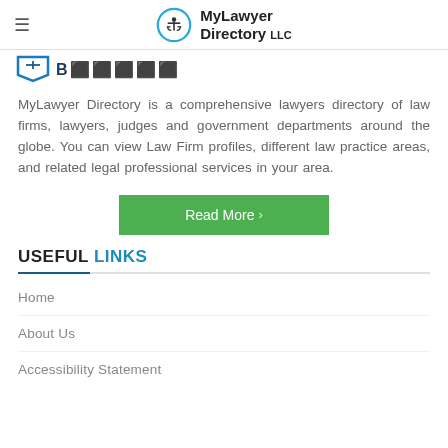MyLawyer Directory LLC
[Figure (logo): Partial logo: blue shield/balance icon with dark blue text partially visible]
MyLawyer Directory is a comprehensive lawyers directory of law firms, lawyers, judges and government departments around the globe. You can view Law Firm profiles, different law practice areas, and related legal professional services in your area.
Read More →
USEFUL LINKS
Home
About Us
Accessibility Statement